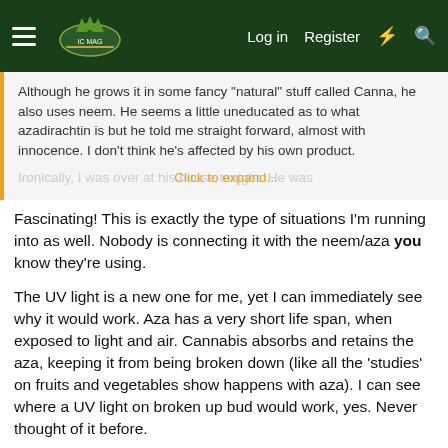Log in  Register
Although he grows it in some fancy "natural" stuff called Canna, he also uses neem. He seems a little uneducated as to what azadirachtin is but he told me straight forward, almost with innocence. I don't think he's affected by his own product.

Ironically, I was over at his... Click to expand... house tonight. He was
Fascinating! This is exactly the type of situations I'm running into as well. Nobody is connecting it with the neem/aza you know they're using.
The UV light is a new one for me, yet I can immediately see why it would work. Aza has a very short life span, when exposed to light and air. Cannabis absorbs and retains the aza, keeping it from being broken down (like all the 'studies' on fruits and vegetables show happens with aza). I can see where a UV light on broken up bud would work, yes. Never thought of it before.
Your provider's response is typical, and to say. Unless it's on